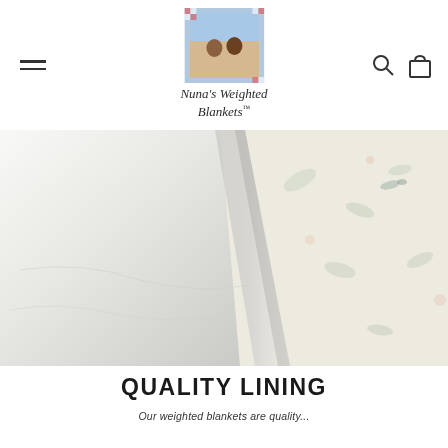Nuna's Weighted Blankets
[Figure (photo): Close-up photo of a weighted blanket being folded back, showing a soft white fabric lining on the left and a patterned decorative fabric on the right with floral/nature motifs]
QUALITY LINING
Our weighted blankets are quality...